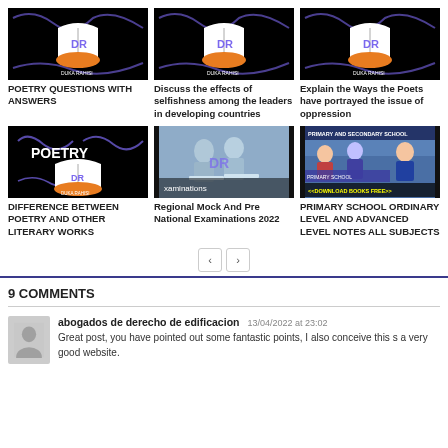[Figure (logo): DR Duka Rahisi logo on black background - book with orange cover]
POETRY QUESTIONS WITH ANSWERS
[Figure (logo): DR Duka Rahisi logo on black background]
Discuss the effects of selfishness among the leaders in developing countries
[Figure (logo): DR Duka Rahisi logo on black background]
Explain the Ways the Poets have portrayed the issue of oppression
[Figure (logo): POETRY DR Duka Rahisi logo black background]
DIFFERENCE BETWEEN POETRY AND OTHER LITERARY WORKS
[Figure (photo): Students studying for examinations - blue tinted photo]
Regional Mock And Pre National Examinations 2022
[Figure (photo): Primary and secondary school students with download books free banner]
PRIMARY SCHOOL ORDINARY LEVEL AND ADVANCED LEVEL NOTES ALL SUBJECTS
9 COMMENTS
abogados de derecho de edificacion
13/04/2022 at 23:02
Great post, you have pointed out some fantastic points, I also conceive this s a very good website.